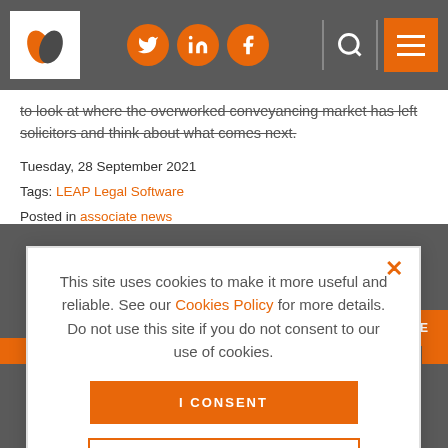Header with logo, social icons (Twitter, LinkedIn, Facebook), search, and menu
to look at where the overworked conveyancing market has left solicitors and think about what comes next.
Tuesday, 28 September 2021
Tags: LEAP Legal Software
Posted in associate news
READ MORE
This site uses cookies to make it more useful and reliable. See our Cookies Policy for more details. Do not use this site if you do not consent to our use of cookies.
I CONSENT
SEE COOKIE POLICY